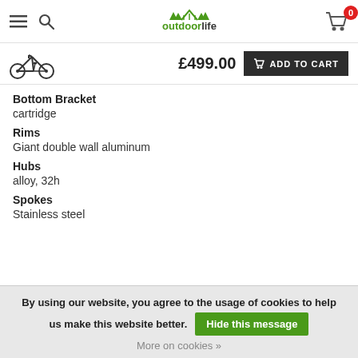outdoorlife — navigation header with hamburger menu, search icon, logo, and cart (0 items)
[Figure (other): Bicycle icon with price £499.00 and Add to Cart button]
Bottom Bracket
cartridge
Rims
Giant double wall aluminum
Hubs
alloy, 32h
Spokes
Stainless steel
By using our website, you agree to the usage of cookies to help us make this website better. Hide this message. More on cookies »